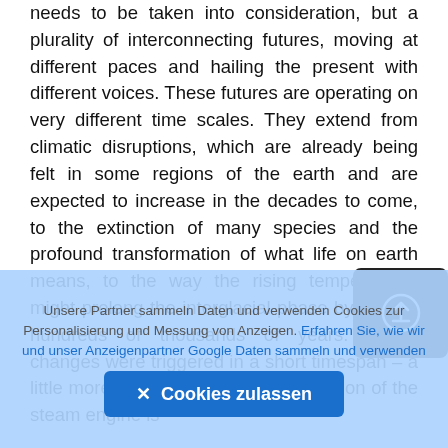needs to be taken into consideration, but a plurality of interconnecting futures, moving at different paces and hailing the present with different voices. These futures are operating on very different time scales. They extend from climatic disruptions, which are already being felt in some regions of the earth and are expected to increase in the decades to come, to the extinction of many species and the profound transformation of what life on earth means, to the way the rising temperatures might prolong the interglacial phase by tens or hundreds of thousands of years. These changes were triggered in a short timespan – a little more than 200 years if the invention of the steam engine is
[Figure (other): Camera/upload button icon — dark rounded square with a circular upload arrow icon inside]
Unsere Partner sammeln Daten und verwenden Cookies zur Personalisierung und Messung von Anzeigen. Erfahren Sie, wie wir und unser Anzeigenpartner Google Daten sammeln und verwenden
✕ Cookies zulassen